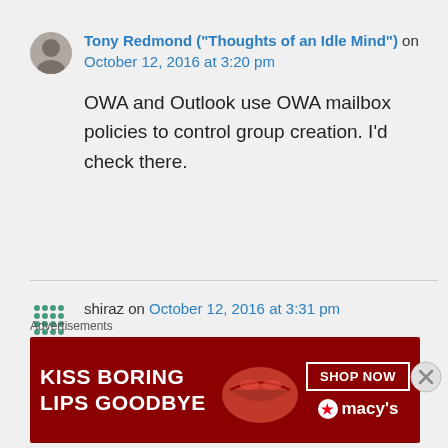Tony Redmond ("Thoughts of an Idle Mind") on October 12, 2016 at 3:20 pm
OWA and Outlook use OWA mailbox policies to control group creation. I’d check there.
shiraz on October 12, 2016 at 3:31 pm
Hi Tony
So OWA not using Azure AD Policy
Advertisements
[Figure (infographic): Macy's advertisement banner: KISS BORING LIPS GOODBYE with SHOP NOW button and Macy's logo]